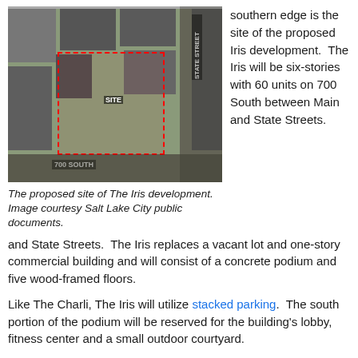[Figure (photo): Aerial satellite view of a city block showing the proposed site of The Iris development, outlined in red dashed lines. Labels show 'SITE', '700 SOUTH', and 'STATE STREET'.]
The proposed site of The Iris development. Image courtesy Salt Lake City public documents.
southern edge is the site of the proposed Iris development. The Iris will be six-stories with 60 units on 700 South between Main and State Streets. The Iris replaces a vacant lot and one-story commercial building and will consist of a concrete podium and five wood-framed floors.
Like The Charli, The Iris will utilize stacked parking. The south portion of the podium will be reserved for the building's lobby, fitness center and a small outdoor courtyard.
The Iris joins an increasingly vibrant block that includes the